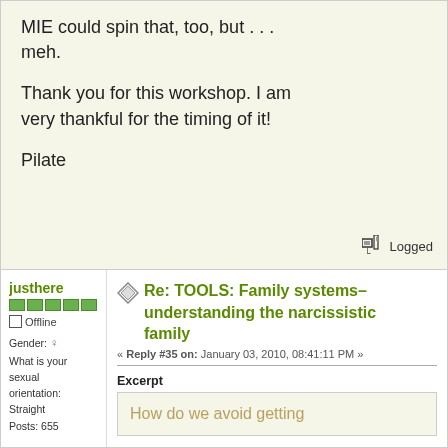MIE could spin that, too, but . . . meh.

Thank you for this workshop. I am very thankful for the timing of it!

Pilate
Logged
justhere
Offline
Gender: 
What is your sexual orientation: Straight
Posts: 655
Re: TOOLS: Family systems– understanding the narcissistic family
« Reply #35 on: January 03, 2010, 08:41:11 PM »
Excerpt
How do we avoid getting